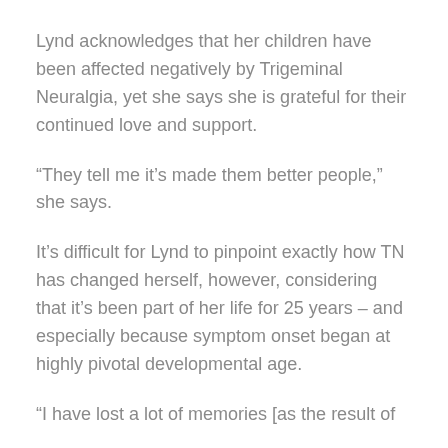Lynd acknowledges that her children have been affected negatively by Trigeminal Neuralgia, yet she says she is grateful for their continued love and support.
“They tell me it’s made them better people,” she says.
It’s difficult for Lynd to pinpoint exactly how TN has changed herself, however, considering that it’s been part of her life for 25 years – and especially because symptom onset began at highly pivotal developmental age.
“I have lost a lot of memories [as the result of